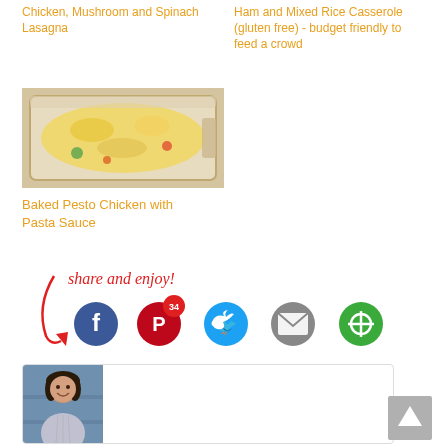Chicken, Mushroom and Spinach Lasagna
Ham and Mixed Rice Casserole (gluten free) - budget friendly to feed a crowd
[Figure (photo): Baked casserole dish with melted cheese on top, containing colorful vegetables and pasta]
Baked Pesto Chicken with Pasta Sauce
[Figure (infographic): Share and enjoy! text with social media icons: Facebook, Pinterest (34), Twitter, Email, and a subscription button]
[Figure (photo): Author profile photo of a smiling woman]
[Figure (other): Back to top button with up arrow]